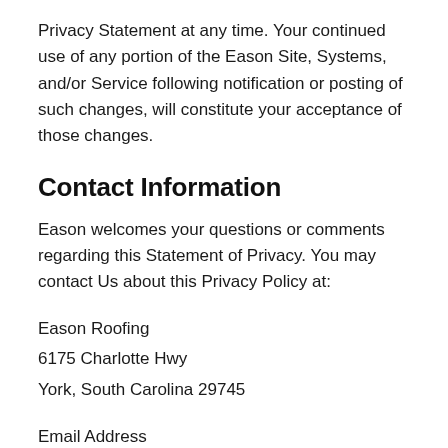Privacy Statement at any time. Your continued use of any portion of the Eason Site, Systems, and/or Service following notification or posting of such changes, will constitute your acceptance of those changes.
Contact Information
Eason welcomes your questions or comments regarding this Statement of Privacy. You may contact Us about this Privacy Policy at:
Eason Roofing
6175 Charlotte Hwy
York, South Carolina 29745
Email Address
info@easonroofing.com